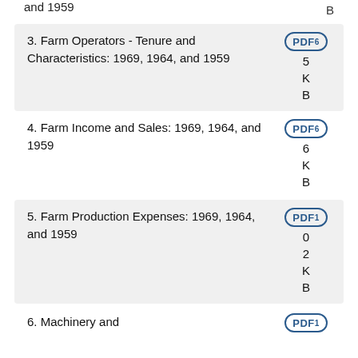and 1959    B
3. Farm Operators - Tenure and Characteristics: 1969, 1964, and 1959   PDF 5 KB
4. Farm Income and Sales: 1969, 1964, and 1959   PDF 6 KB
5. Farm Production Expenses: 1969, 1964, and 1959   PDF 102 KB
6. Machinery and   PDF 1